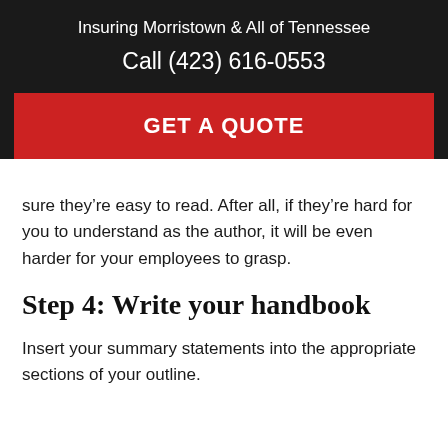Insuring Morristown & All of Tennessee
Call (423) 616-0553
[Figure (other): Red call-to-action button reading GET A QUOTE]
sure they’re easy to read. After all, if they’re hard for you to understand as the author, it will be even harder for your employees to grasp.
Step 4: Write your handbook
Insert your summary statements into the appropriate sections of your outline.